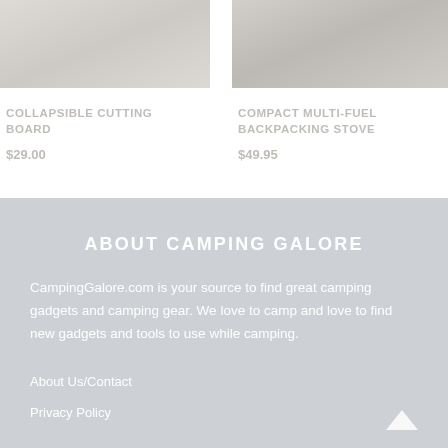[Figure (photo): Collapsible cutting board product photo, light gray/white texture]
COLLAPSIBLE CUTTING BOARD
$29.00
[Figure (photo): Compact multi-fuel backpacking stove product photo, light gray/white texture]
COMPACT MULTI-FUEL BACKPACKING STOVE
$49.95
ABOUT CAMPING GALORE
CampingGalore.com is your source to find great camping gadgets and camping gear. We love to camp and love to find new gadgets and tools to use while camping.
About Us/Contact
Privacy Policy